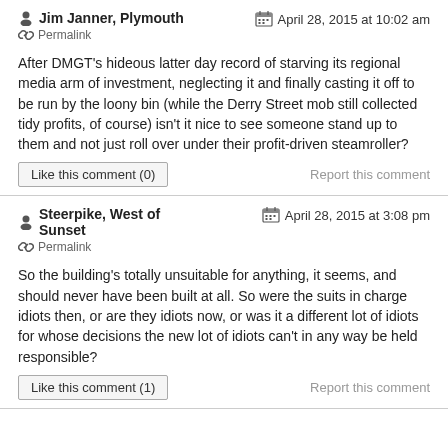Jim Janner, Plymouth — April 28, 2015 at 10:02 am — Permalink
After DMGT's hideous latter day record of starving its regional media arm of investment, neglecting it and finally casting it off to be run by the loony bin (while the Derry Street mob still collected tidy profits, of course) isn't it nice to see someone stand up to them and not just roll over under their profit-driven steamroller?
Like this comment (0) — Report this comment
Steerpike, West of Sunset — April 28, 2015 at 3:08 pm — Permalink
So the building's totally unsuitable for anything, it seems, and should never have been built at all. So were the suits in charge idiots then, or are they idiots now, or was it a different lot of idiots for whose decisions the new lot of idiots can't in any way be held responsible?
Like this comment (1) — Report this comment